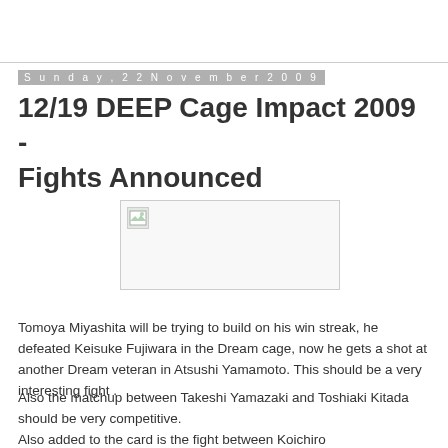Sunday, 22 November 2009
12/19 DEEP Cage Impact 2009 - Fights Announced
[Figure (photo): Broken image placeholder - failed to load image related to DEEP Cage Impact 2009]
Tomoya Miyashita will be trying to build on his win streak, he defeated Keisuke Fujiwara in the Dream cage, now he gets a shot at another Dream veteran in Atsushi Yamamoto. This should be a very interesting fight .
Also the matchup between Takeshi Yamazaki and Toshiaki Kitada should be very competitive.
Also added to the card is the fight between Koichiro